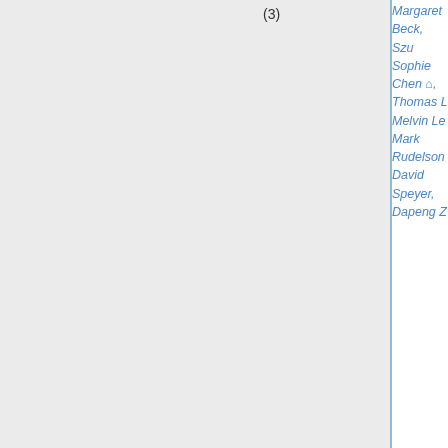(3)
Margaret Beck, Szu Sophie Chen, Thomas L, Melvin Le, Mark Rudelson, David Speyer, Dapeng Z
| Institution | Area | Date | Status/Names |
| --- | --- | --- | --- |
| U Mississippi | all math | Nov 7 |  |
| U Nebraska* | analysis | Dec 5 | frozen |
| U Nebraska* | biomath | Dec 5 | Carina Cu |
| U New Mexico | applied | Jan 7 | short list |
| U New Mexico | stat | Jan 1 |  |
| U North Carolina, Chapel Hill* | geom, algebra | Dec 1 |  |
| U North Carolina, Charlotte* | comp math | Dec 1 | frozen |